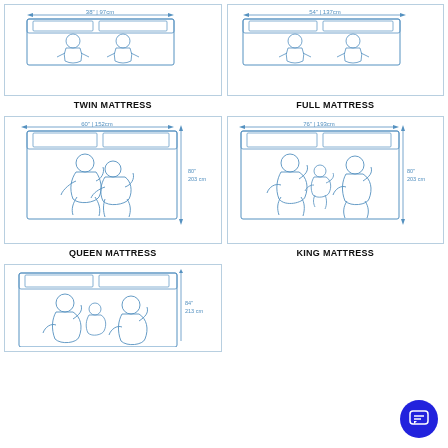[Figure (illustration): Twin mattress diagram with two people sleeping, dimensions 38" | 97cm wide, 75" | 190cm long]
TWIN MATTRESS
[Figure (illustration): Full mattress diagram with two people sleeping, dimensions 54" | 137cm wide]
FULL MATTRESS
[Figure (illustration): Queen mattress diagram with couple sleeping, dimensions 60" | 152cm wide, 80" | 203cm long]
QUEEN MATTRESS
[Figure (illustration): King mattress diagram with couple and child sleeping, dimensions 76" | 193cm wide, 80" | 203cm long]
KING MATTRESS
[Figure (illustration): California King mattress diagram with couple and child, dimensions 84" | 213cm long, partial view]